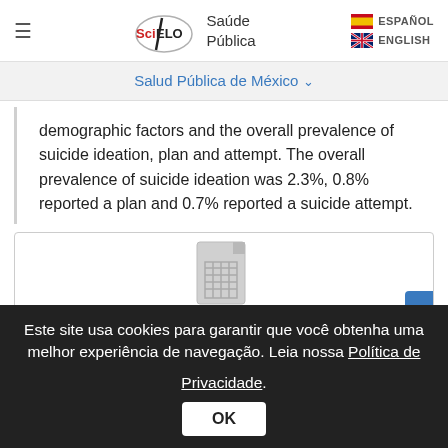SciELO Saúde Pública — ESPAÑOL / ENGLISH
Salud Pública de México
demographic factors and the overall prevalence of suicide ideation, plan and attempt. The overall prevalence of suicide ideation was 2.3%, 0.8% reported a plan and 0.7% reported a suicide attempt.
[Figure (illustration): Document/spreadsheet icon shown in a bordered box]
Este site usa cookies para garantir que você obtenha uma melhor experiência de navegação. Leia nossa Política de Privacidade.